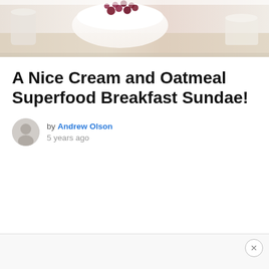[Figure (photo): Hero image of a food dish — appears to be a breakfast dessert or sundae with cream and dark berries/pomegranate seeds, photographed in a light, airy style.]
A Nice Cream and Oatmeal Superfood Breakfast Sundae!
by Andrew Olson
5 years ago